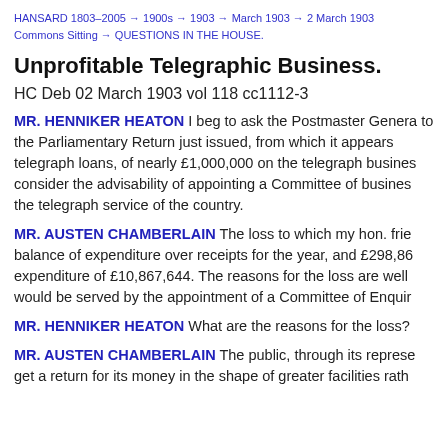HANSARD 1803–2005 → 1900s → 1903 → March 1903 → 2 March 1903 Commons Sitting → QUESTIONS IN THE HOUSE.
Unprofitable Telegraphic Business.
HC Deb 02 March 1903 vol 118 cc1112-3
MR. HENNIKER HEATON I beg to ask the Postmaster General to the Parliamentary Return just issued, from which it appears telegraph loans, of nearly £1,000,000 on the telegraph business consider the advisability of appointing a Committee of business the telegraph service of the country.
MR. AUSTEN CHAMBERLAIN The loss to which my hon. friend balance of expenditure over receipts for the year, and £298,86 expenditure of £10,867,644. The reasons for the loss are well would be served by the appointment of a Committee of Enquiry.
MR. HENNIKER HEATON What are the reasons for the loss?
MR. AUSTEN CHAMBERLAIN The public, through its representative get a return for its money in the shape of greater facilities rather